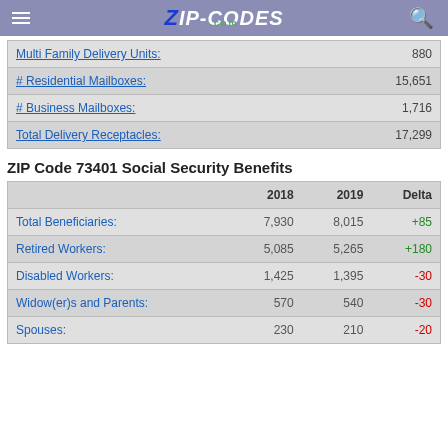Zip-Codes.com
|  |  |
| --- | --- |
| Multi Family Delivery Units: | 880 |
| # Residential Mailboxes: | 15,651 |
| # Business Mailboxes: | 1,716 |
| Total Delivery Receptacles: | 17,299 |
ZIP Code 73401 Social Security Benefits
|  | 2018 | 2019 | Delta |
| --- | --- | --- | --- |
| Total Beneficiaries: | 7,930 | 8,015 | +85 |
| Retired Workers: | 5,085 | 5,265 | +180 |
| Disabled Workers: | 1,425 | 1,395 | -30 |
| Widow(er)s and Parents: | 570 | 540 | -30 |
| Spouses: | 230 | 210 | -20 |